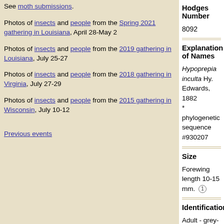See moth submissions.
Photos of insects and people from the Spring 2021 gathering in Louisiana, April 28-May 2
Photos of insects and people from the 2019 gathering in Louisiana, July 25-27
Photos of insects and people from the 2018 gathering in Virginia, July 27-29
Photos of insects and people from the 2015 gathering in Wisconsin, July 10-12
Previous events
Hodges Number
8092
Explanation of Names
Hypoprepia inculta Hy. Edwards, 1882
* phylogenetic sequence #930207
Size
Forewing length 10-15 mm. (1)
Identification
Adult - grey-black forewing with a pale longitudinal pink hindwing, abdomen tipped in dull orange (Edw...
Range
South Dakota's Black Hills and Wyoming south thr... Arizona and on to central Mexico. (1)
Type locality: Tucson, Arizona.
Season
Adults fly June through early July. (1)